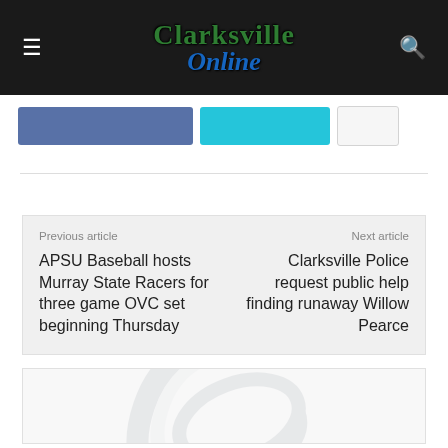Clarksville Online
[Figure (screenshot): Share buttons strip with Facebook (blue), Twitter (cyan), and a share button]
Previous article
APSU Baseball hosts Murray State Racers for three game OVC set beginning Thursday
Next article
Clarksville Police request public help finding runaway Willow Pearce
[Figure (logo): Clarksville Online watermark logo — large stylized C with swoosh, light gray]